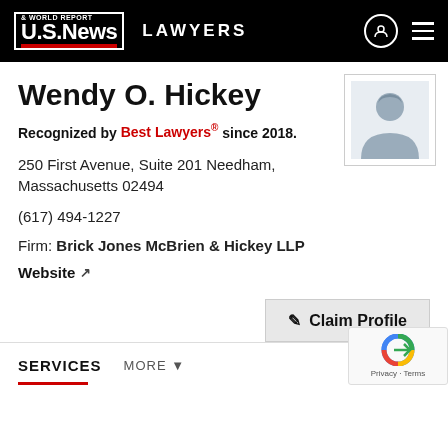US News & World Report LAWYERS
Wendy O. Hickey
Recognized by Best Lawyers® since 2018.
250 First Avenue, Suite 201 Needham, Massachusetts 02494
(617) 494-1227
Firm: Brick Jones McBrien & Hickey LLP
Website
[Figure (illustration): Generic female lawyer profile silhouette placeholder image]
Claim Profile
SERVICES
MORE ▼